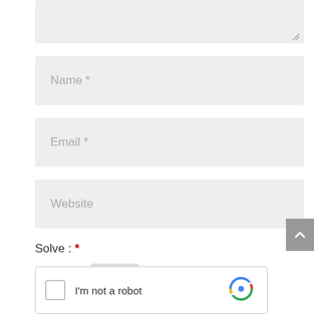[Figure (screenshot): Textarea input field (grey background) with resize handle at bottom right]
Name *
Email *
Website
Solve : *
[Figure (screenshot): reCAPTCHA widget with checkbox, 'I'm not a robot' text, and reCAPTCHA logo]